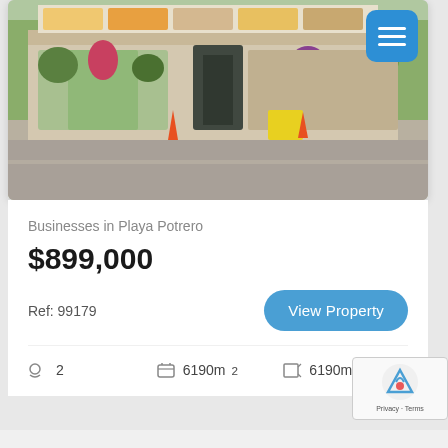[Figure (photo): Storefront of a commercial property in Playa Potrero, showing a strip mall / restaurant with plants, menu boards, and orange traffic cones on the road in front.]
Businesses in Playa Potrero
$899,000
Ref: 99179
View Property
2   6190m²   6190m